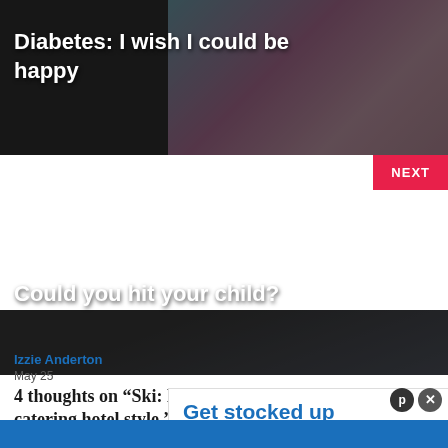[Figure (photo): Dark background image with pink flowers, article thumbnail for diabetes article]
Diabetes: I wish I could be happy
[Figure (photo): Dark background image of a child looking sad/crouching, article thumbnail with NEXT button]
Could you hit your child?
4 thoughts on “Ski: Le Hameau du Kashmir – self-catering hotel style.”
Izzie Anderton
May 25
[Figure (screenshot): Advertisement overlay: Get stocked up in just a few clicks. No markups or hidden fees. Swipe up to expand.]